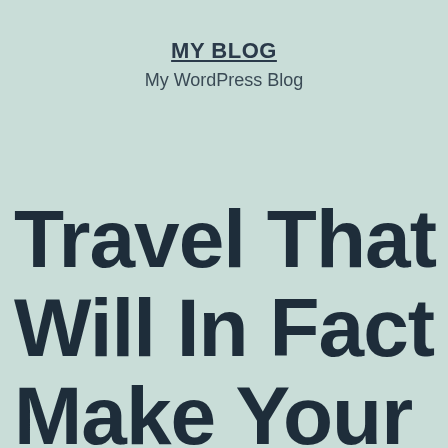MY BLOG
My WordPress Blog
Travel That Will In Fact Make Your Life Better.